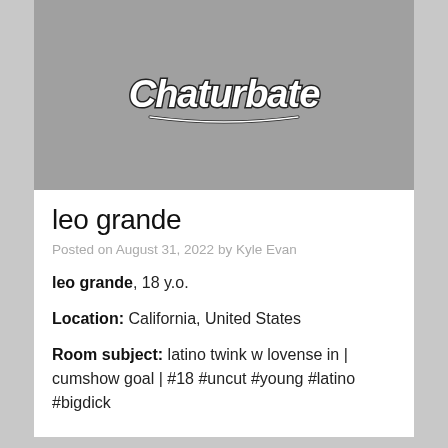[Figure (logo): Chaturbate logo on grey background]
leo grande
Posted on August 31, 2022 by Kyle Evan
leo grande, 18 y.o.
Location: California, United States
Room subject: latino twink w lovense in | cumshow goal | #18 #uncut #young #latino #bigdick